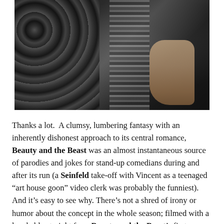[Figure (photo): Black and white photograph showing close-up of clothing/fabric with a paisley-patterned garment on the left and a person's hand/arm visible on the right against dark background]
Thanks a lot.  A clumsy, lumbering fantasy with an inherently dishonest approach to its central romance, Beauty and the Beast was an almost instantaneous source of parodies and jokes for stand-up comedians during and after its run (a Seinfeld take-off with Vincent as a teenaged “art house goon” video clerk was probably the funniest). And it’s easy to see why. There’s not a shred of irony or humor about the concept in the whole season; filmed with a laughably straight face, Beauty and the Beast’s first season initially made me snicker,